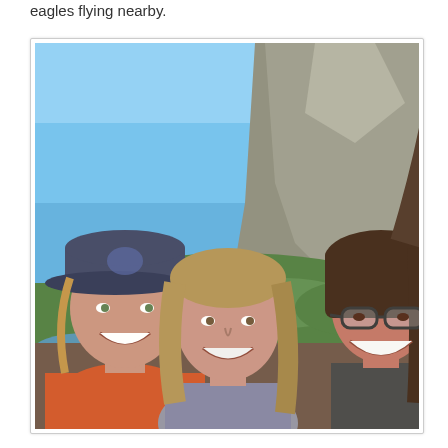eagles flying nearby.
[Figure (photo): Three women smiling together outdoors, with a mountain and blue sky in the background. The woman on the left wears a navy blue cap and an orange top. The woman in the middle has shoulder-length blonde/brown hair. The woman on the right has dark hair and glasses. There is a lake and forested hillside visible behind them.]